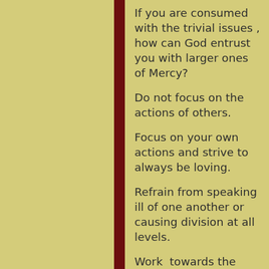If you are consumed with the trivial issues , how can God entrust you with larger ones of Mercy?
Do not focus on the actions of others.
Focus on your own actions and strive to always be loving.
Refrain from speaking ill of one another or causing division at all levels.
Work  towards the finish line of God's Love.
Pray and be merciful and strive to be like Jesus in order that you will be able to see Him face to face with a pure heart.